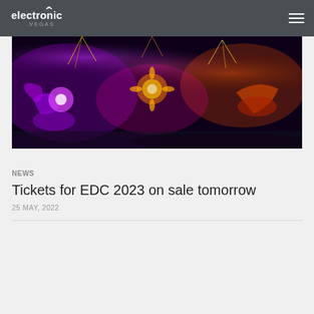electronic.vegas
[Figure (photo): Festival scene with colorful costumes, performers, purple and orange lighting, fireworks and fog at an EDC event]
NEWS
Tickets for EDC 2023 on sale tomorrow
25 MAY, 2022